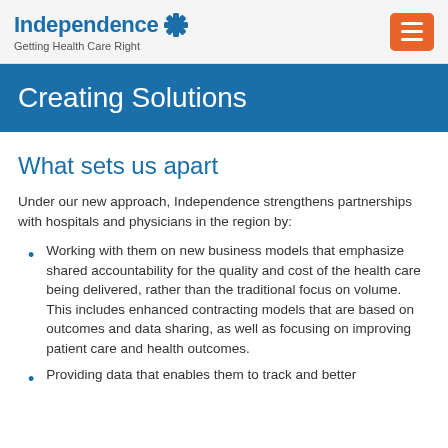Independence Blue Cross — Getting Health Care Right
Creating Solutions
What sets us apart
Under our new approach, Independence strengthens partnerships with hospitals and physicians in the region by:
Working with them on new business models that emphasize shared accountability for the quality and cost of the health care being delivered, rather than the traditional focus on volume. This includes enhanced contracting models that are based on outcomes and data sharing, as well as focusing on improving patient care and health outcomes.
Providing data that enables them to track and better...